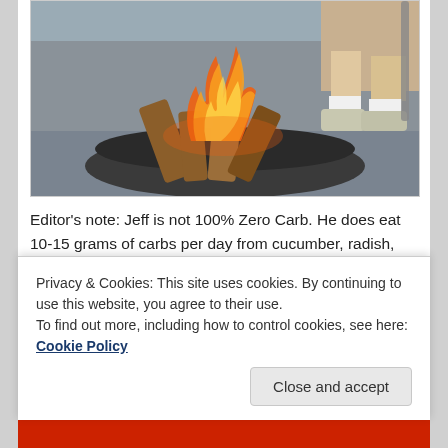[Figure (photo): A campfire burning in a metal fire ring on gravel ground. Logs of wood are stacked in the ring with orange flames visible. A person is sitting nearby with their legs visible, wearing white socks and sneakers.]
Editor's note: Jeff is not 100% Zero Carb. He does eat 10-15 grams of carbs per day from cucumber, radish, and spinach. He also consumes coconut oil which most Zero Carb practitioners do not include it from products.
Privacy & Cookies: This site uses cookies. By continuing to use this website, you agree to their use.
To find out more, including how to control cookies, see here: Cookie Policy
Close and accept